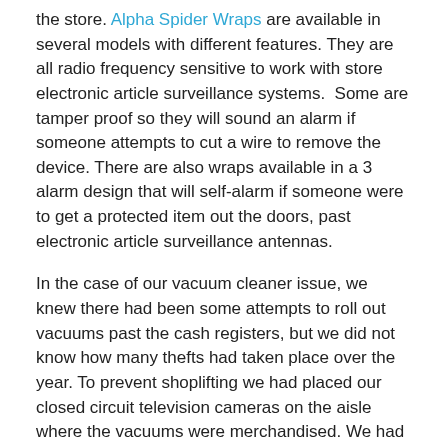the store. Alpha Spider Wraps are available in several models with different features. They are all radio frequency sensitive to work with store electronic article surveillance systems. Some are tamper proof so they will sound an alarm if someone attempts to cut a wire to remove the device. There are also wraps available in a 3 alarm design that will self-alarm if someone were to get a protected item out the doors, past electronic article surveillance antennas.
In the case of our vacuum cleaner issue, we knew there had been some attempts to roll out vacuums past the cash registers, but we did not know how many thefts had taken place over the year. To prevent shoplifting we had placed our closed circuit television cameras on the aisle where the vacuums were merchandised. We had also attempted to use retail anti-theft devices such as EAS tags and tamper-proof security tape on the boxes. Finally, I tried to staff my front end security team members at times we suspected shoplifters were trying to conduct roll-outs. Obviously the results spoke for themselves and it was apparent we had not done enough to curb the thieves. They were cleaning house (pun intended) and I needed a new tactic, especially when I learned from Loss Prevention Managers in other